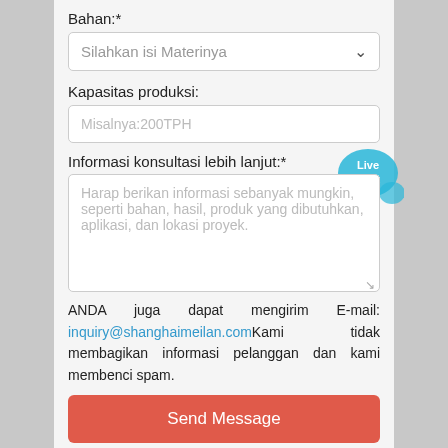Bahan:*
Silahkan isi Materinya
Kapasitas produksi:
Misalnya:200TPH
Informasi konsultasi lebih lanjut:*
[Figure (illustration): Live Chat speech bubble icon in cyan/blue color]
Harap berikan informasi sebanyak mungkin, seperti bahan, hasil, produk yang dibutuhkan, aplikasi, dan lokasi proyek.
ANDA juga dapat mengirim E-mail: inquiry@shanghaimeilan.comKami tidak membagikan informasi pelanggan dan kami membenci spam.
Send Message